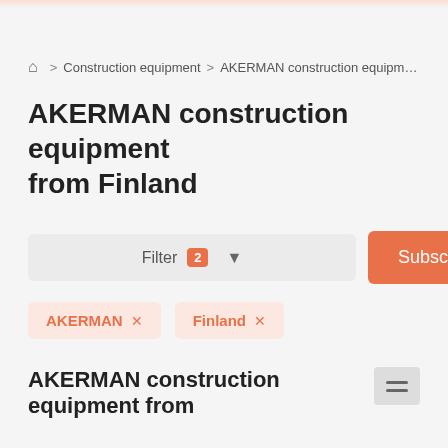Construction equipment > AKERMAN construction equip…
AKERMAN construction equipment from Finland
Filter 2 ▼ Subscribe
AKERMAN ×
Finland ×
AKERMAN construction equipment from